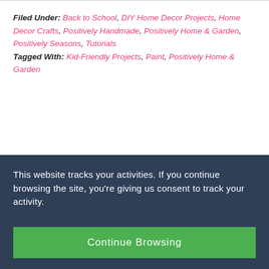Filed Under: Back to School, DIY Home Decor Projects, Home Decor Crafts, Positively Handmade, Positively Home & Garden, Positively Seasons, Tutorials Tagged With: Kid-Friendly Projects, Paint, Positively Home & Garden
This website tracks your activities. If you continue browsing the site, you're giving us consent to track your activity.
Continue Browsing